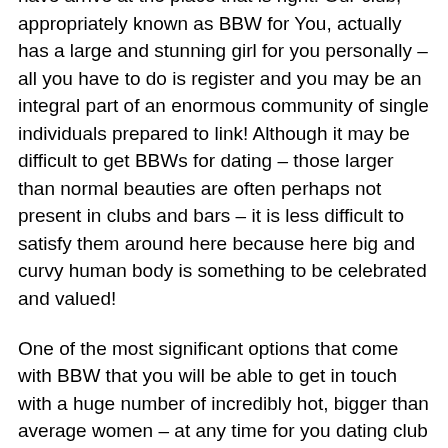have arrive at the place that is right! Our club, appropriately known as BBW for You, actually has a large and stunning girl for you personally – all you have to do is register and you may be an integral part of an enormous community of single individuals prepared to link! Although it may be difficult to get BBWs for dating – those larger than normal beauties are often perhaps not present in clubs and bars – it is less difficult to satisfy them around here because here big and curvy human body is something to be celebrated and valued!
One of the most significant options that come with BBW that you will be able to get in touch with a huge number of incredibly hot, bigger than average women – at any time for you dating club is! You could have a chat while you're working, you can easily connect to someone while you're resting later in the day… you are able to click with some body even while you're commuting! And with so numerous